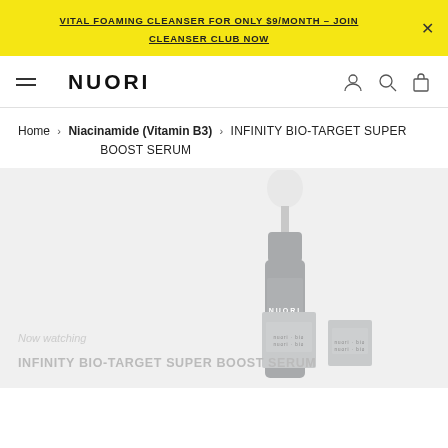VITAL FOAMING CLEANSER FOR ONLY $9/MONTH – JOIN CLEANSER CLUB NOW
NUORI
Home › Niacinamide (Vitamin B3) › INFINITY BIO-TARGET SUPER BOOST SERUM
[Figure (photo): Product photo of NUORI Infinity Bio-Target Super Boost Serum serum bottle with dropper top (grey/silver), alongside two small product boxes, on a light grey background. Text overlay reads 'Now watching' and 'INFINITY BIO-TARGET SUPER BOOST SERUM'.]